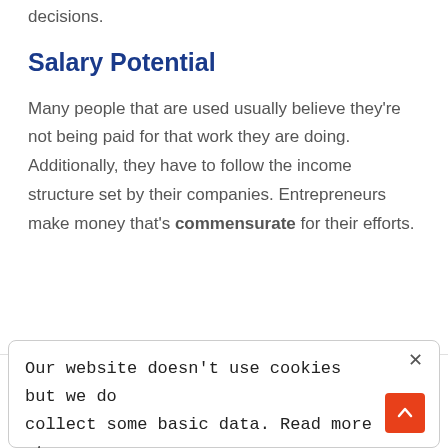decisions.
Salary Potential
Many people that are used usually believe they're not being paid for that work they are doing. Additionally, they have to follow the income structure set by their companies. Entrepreneurs make money that's commensurate for their efforts.
Our website doesn't use cookies but we do collect some basic data. Read more at our